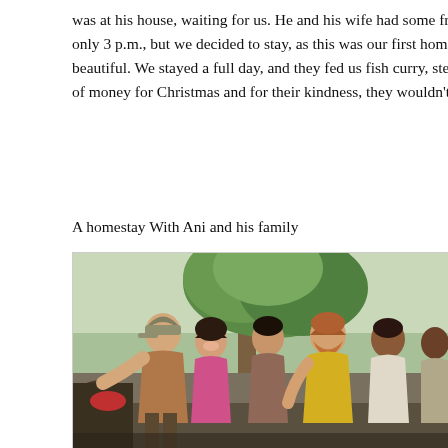was at his house, waiting for us. He and his wife had some fresh gree only 3 p.m., but we decided to stay, as this was our first home stay i beautiful. We stayed a full day, and they fed us fish curry, steamcake of money for Christmas and for their kindness, they wouldn't take it.
A homestay With Ani and his family
[Figure (photo): Group photo of five or six people standing outdoors in front of a large tree. From left to right: a man wearing a cap and brown t-shirt, a woman in a pink top, a woman in the middle, a man in a yellow t-shirt, and two men on the right side wearing lighter clothing. The setting appears to be a rural or village environment.]